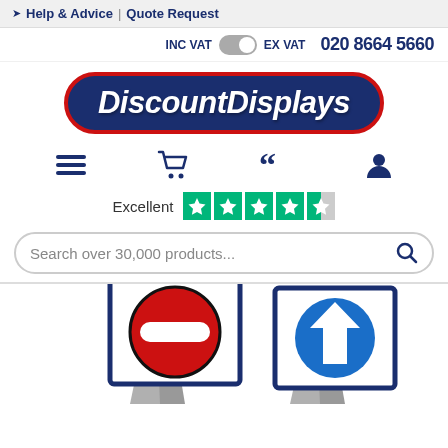Help & Advice | Quote Request
INC VAT  EX VAT  020 8664 5660
[Figure (logo): DiscountDisplays logo — white bold italic text on dark blue rounded rectangle with red border]
[Figure (infographic): Navigation icons: hamburger menu, shopping cart, quote/speech marks, user account]
Excellent  (Trustpilot 4.5 stars out of 5)
Search over 30,000 products...
[Figure (photo): Two A-frame pavement signs: left sign shows red no-entry circle symbol, right sign shows blue circle with white upward arrow]